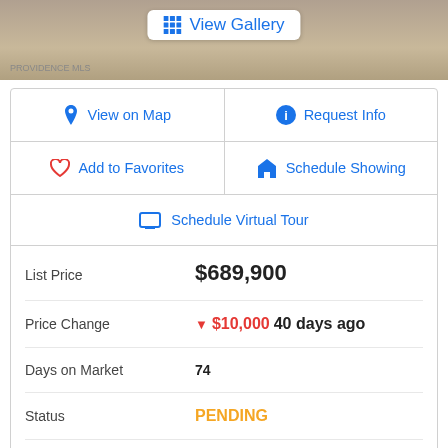[Figure (photo): Top portion of property photo with View Gallery button overlay, PROVIDENCE watermark bottom left]
| View on Map | Request Info |
| Add to Favorites | Schedule Showing |
| Schedule Virtual Tour |  |
| List Price | $689,900 |
| Price Change | ▼ $10,000 40 days ago |
| Days on Market | 74 |
| Status | PENDING |
| MLS# | 6422261 |
| City | Glendale |